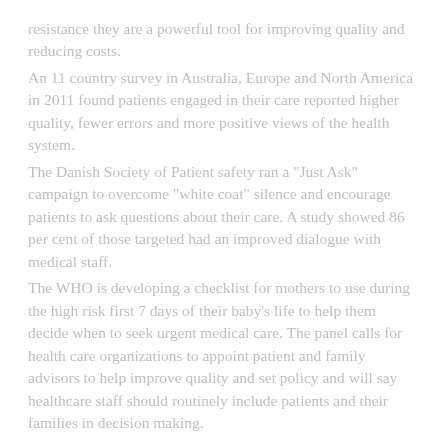resistance they are a powerful tool for improving quality and reducing costs. An 11 country survey in Australia, Europe and North America in 2011 found patients engaged in their care reported higher quality, fewer errors and more positive views of the health system. The Danish Society of Patient safety ran a "Just Ask" campaign to overcome "white coat" silence and encourage patients to ask questions about their care. A study showed 86 per cent of those targeted had an improved dialogue with medical staff. The WHO is developing a checklist for mothers to use during the high risk first 7 days of their baby's life to help them decide when to seek urgent medical care. The panel calls for health care organizations to appoint patient and family advisors to help improve quality and set policy and will say healthcare staff should routinely include patients and their families in decision making.